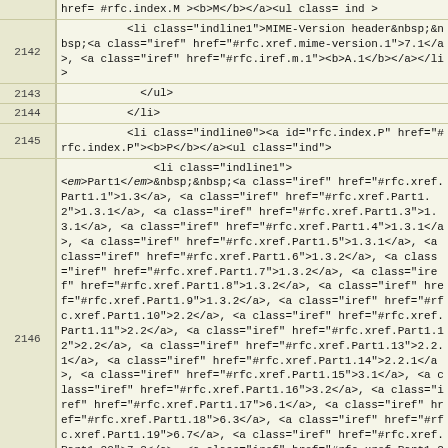href= #rfc.index.M ><b>M</b></a><ul class= ind >
2142: <li class="indline1">MIME-Version header&nbsp;&nbsp;<a class="iref" href="#rfc.xref.mime-version.1">7.1</a>, <a class="iref" href="#rfc.iref.m.1"><b>A.1</b></a></li>
2143: </ul>
2144: </li>
2145: <li class="indline0"><a id="rfc.index.P" href="#rfc.index.P"><b>P</b></a><ul class="ind">
2146: <li class="indline1"><em>Part1</em>&nbsp;&nbsp;<a class="iref" href="#rfc.xref.Part1.1">1.3</a>, <a class="iref" href="#rfc.xref.Part1.2">1.3.1</a>, ... <a class="iref" href="#rfc.xref.Part1.24">A.6</a><ul class="ind">
2147: <li class="indline1"><em>Section